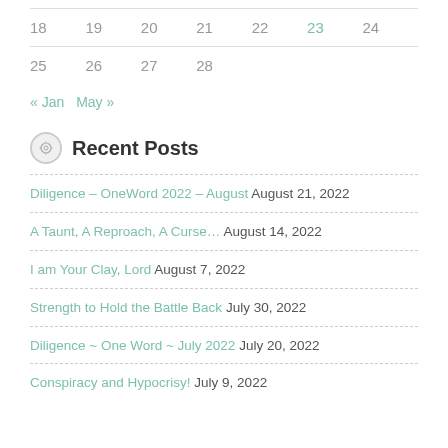| 18 | 19 | 20 | 21 | 22 | 23 | 24 |
| 25 | 26 | 27 | 28 |  |  |  |
« Jan   May »
Recent Posts
Diligence – OneWord 2022 – August  August 21, 2022
A Taunt, A Reproach, A Curse…  August 14, 2022
I am Your Clay, Lord  August 7, 2022
Strength to Hold the Battle Back  July 30, 2022
Diligence ~ One Word ~ July 2022  July 20, 2022
Conspiracy and Hypocrisy!  July 9, 2022